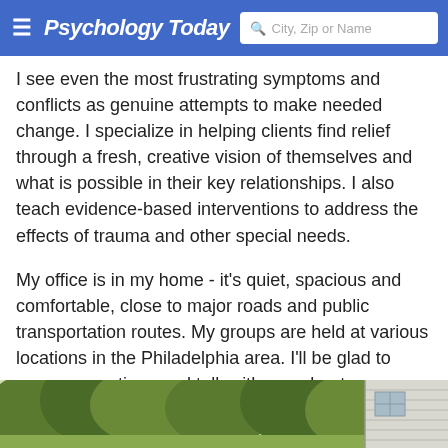Psychology Today | City, Zip or Name
I see even the most frustrating symptoms and conflicts as genuine attempts to make needed change. I specialize in helping clients find relief through a fresh, creative vision of themselves and what is possible in their key relationships. I also teach evidence-based interventions to address the effects of trauma and other special needs.
My office is in my home - it's quiet, spacious and comfortable, close to major roads and public transportation routes. My groups are held at various locations in the Philadelphia area. I'll be glad to answer questions and talk with you about your concerns during a free 30-minute consultation by phone.
[Figure (photo): Outdoor photo showing trees and greenery on left side and a building/house with siding on the right side]